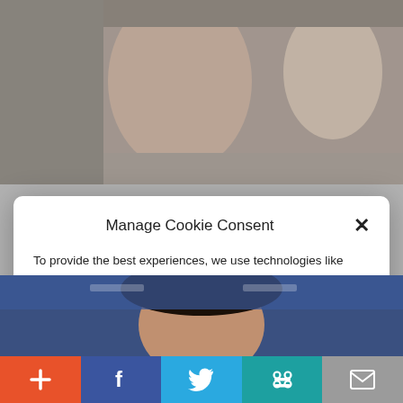[Figure (photo): Photo of elderly man smiling in crowd, younger man visible in background]
Manage Cookie Consent
To provide the best experiences, we use technologies like cookies to store and/or access device information. Consenting to these technologies will allow us to process data such as website statistics. Not consenting or withdrawing consent, may adversely affect certain features and functions.
Accept
Cookie Policy  Privacy Policy
[Figure (photo): Photo of woman with dark curly hair, smiling, in front of blue background]
[Figure (infographic): Social share bar with Add (+), Facebook, Twitter, Share (chain link), and Email icons]